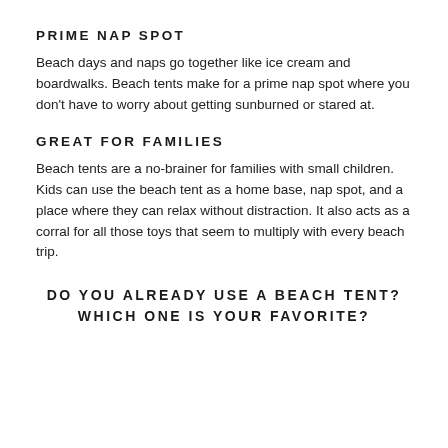PRIME NAP SPOT
Beach days and naps go together like ice cream and boardwalks. Beach tents make for a prime nap spot where you don't have to worry about getting sunburned or stared at.
GREAT FOR FAMILIES
Beach tents are a no-brainer for families with small children. Kids can use the beach tent as a home base, nap spot, and a place where they can relax without distraction. It also acts as a corral for all those toys that seem to multiply with every beach trip.
DO YOU ALREADY USE A BEACH TENT? WHICH ONE IS YOUR FAVORITE?